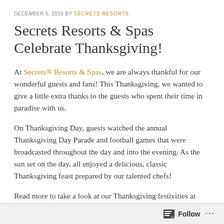DECEMBER 6, 2016 BY SECRETS RESORTS
Secrets Resorts & Spas Celebrate Thanksgiving!
At Secrets® Resorts & Spas, we are always thankful for our wonderful guests and fans! This Thanksgiving, we wanted to give a little extra thanks to the guests who spent their time in paradise with us.
On Thanksgiving Day, guests watched the annual Thanksgiving Day Parade and football games that were broadcasted throughout the day and into the evening. As the sun set on the day, all enjoyed a delicious, classic Thanksgiving feast prepared by our talented chefs!
Read more to take a look at our Thanksgiving festivities at Secrets Resorts!